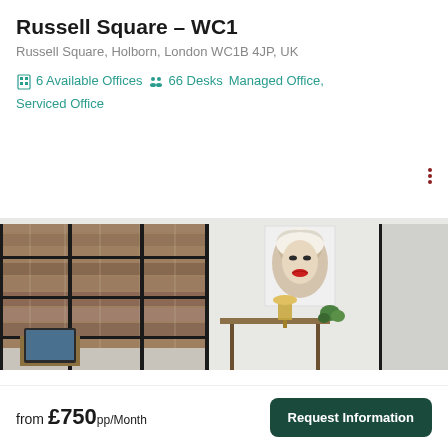Russell Square – WC1
Russell Square, Holborn, London WC1B 4JP, UK
6 Available Offices  66 Desks  Managed Office, Serviced Office
[Figure (photo): Interior office photo showing a modern serviced office space with large black-framed glass panels, exposed brick wall, a desk with a laptop, a console table with a gold lamp and green plant, and a Marilyn Monroe artwork on the white wall.]
from £750pp/Month
Request Information